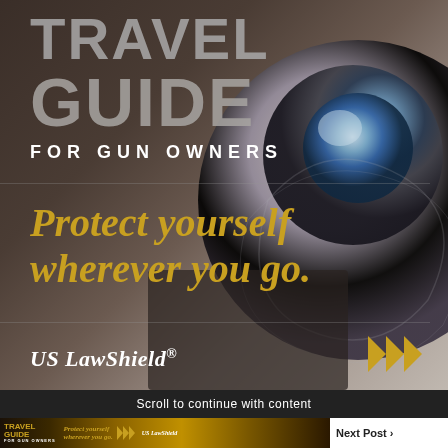[Figure (illustration): Full-page advertisement for US LawShield Travel Guide for Gun Owners. Dark brown/metallic background with a blurred gun barrel/scope on the right side. Large grey text reads TRAVEL GUIDE at the top, with white text FOR GUN OWNERS below. Gold italic text reads 'Protect yourself wherever you go.' US LawShield logo at bottom left, gold triple-arrow icon at bottom right.]
Scroll to continue with content
[Figure (screenshot): Small thumbnail version of the same Travel Guide ad at the bottom strip, with Next Post text to the right.]
Next Post